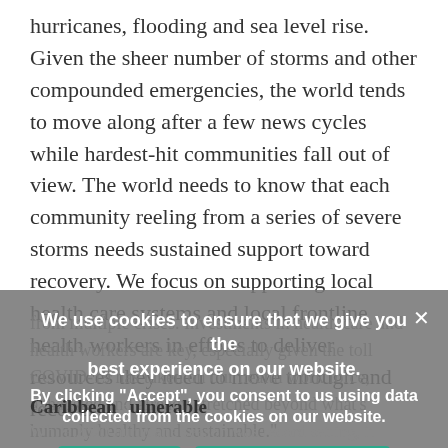hurricanes, flooding and sea level rise. Given the sheer number of storms and other compounded emergencies, the world tends to move along after a few news cycles while hardest-hit communities fall out of view. The world needs to know that each community reeling from a series of severe storms needs sustained support toward recovery. We focus on supporting local health care systems and local frontline health workers in efforts to deliver resources they need to move through and recover from multiple crises. Investments in health care and health workers are key, especially given the toll COVID-19 has taken on our health work force, exhausted and already stretched beyond what's humanly healthy and sustainable."
We use cookies to ensure that we give you the best experience on our website. By clicking "Accept", you consent to us using data collected from the cookies on our website.
ACCEPT
PRIVACY POLICY
Caribbean
While 2020 hurricane season was record setting, it